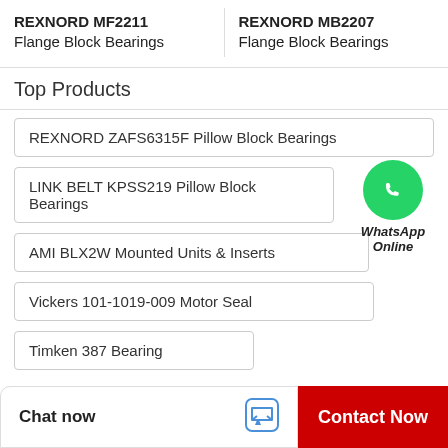REXNORD MF2211 Flange Block Bearings
REXNORD MB2207 Flange Block Bearings
Top Products
REXNORD ZAFS6315F Pillow Block Bearings
LINK BELT KPSS219 Pillow Block Bearings
AMI BLX2W Mounted Units & Inserts
[Figure (logo): WhatsApp green circle logo with phone icon, labeled WhatsApp Online]
Vickers 101-1019-009 Motor Seal
Timken 387 Bearing
Chat now
Contact Now